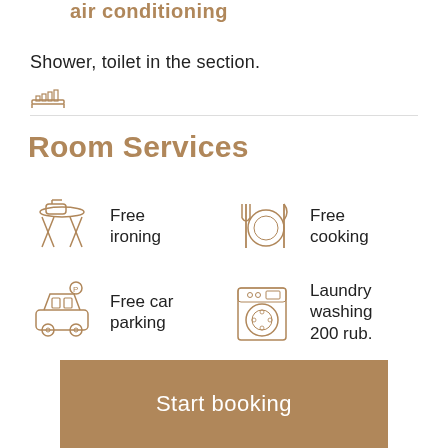Shower, toilet in the section.
Room Services
Free ironing
Free cooking
Free car parking
Laundry washing 200 rub.
Start booking